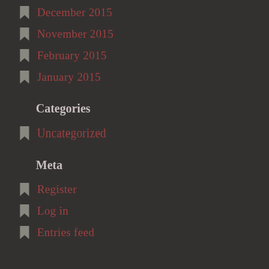December 2015
November 2015
February 2015
January 2015
Categories
Uncategorized
Meta
Register
Log in
Entries feed